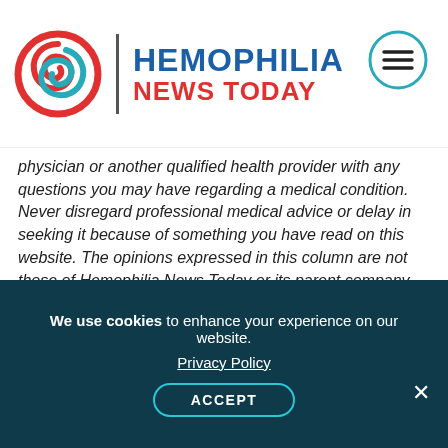[Figure (logo): Hemophilia News Today logo with red swirl icon, vertical divider, and blue/red text]
physician or another qualified health provider with any questions you may have regarding a medical condition. Never disregard professional medical advice or delay in seeking it because of something you have read on this website. The opinions expressed in this column are not those of Hemophilia News Today or its parent company, BioNews Services, and are intended to spark discussion about issues pertaining to hemophilia.
Print This Page
We use cookies to enhance your experience on our website. Privacy Policy ACCEPT